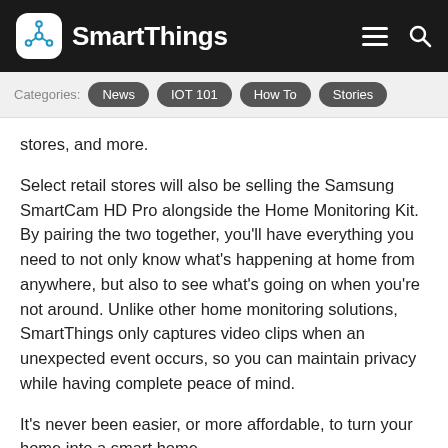SmartThings
[Figure (logo): SmartThings logo with network icon and brand name in white on dark background, with hamburger menu and search icon on the right]
Categories: News | IOT 101 | How To | Stories
stores, and more.
Select retail stores will also be selling the Samsung SmartCam HD Pro alongside the Home Monitoring Kit. By pairing the two together, you'll have everything you need to not only know what's happening at home from anywhere, but also to see what's going on when you're not around. Unlike other home monitoring solutions, SmartThings only captures video clips when an unexpected event occurs, so you can maintain privacy while having complete peace of mind.
It's never been easier, or more affordable, to turn your home into a smart home.